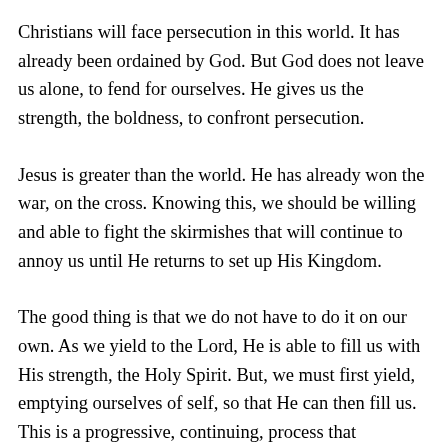Christians will face persecution in this world. It has already been ordained by God. But God does not leave us alone, to fend for ourselves. He gives us the strength, the boldness, to confront persecution.
Jesus is greater than the world. He has already won the war, on the cross. Knowing this, we should be willing and able to fight the skirmishes that will continue to annoy us until He returns to set up His Kingdom.
The good thing is that we do not have to do it on our own. As we yield to the Lord, He is able to fill us with His strength, the Holy Spirit. But, we must first yield, emptying ourselves of self, so that He can then fill us. This is a progressive, continuing, process that continues throughout our spiritual walk with the Lord. We must always be in the process of yielding ourselves to Him. With His power we can resist